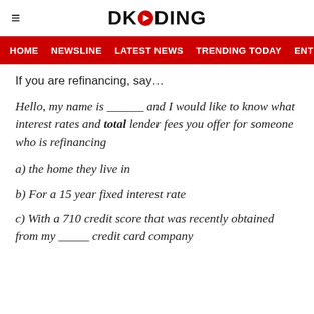DKODING
HOME   NEWSLINE   LATEST NEWS   TRENDING TODAY   ENT
If you are refinancing, say...
Hello, my name is ______ and I would like to know what interest rates and total lender fees you offer for someone who is refinancing
a) the home they live in
b) For a 15 year fixed interest rate
c) With a 710 credit score that was recently obtained from my _____ credit card company